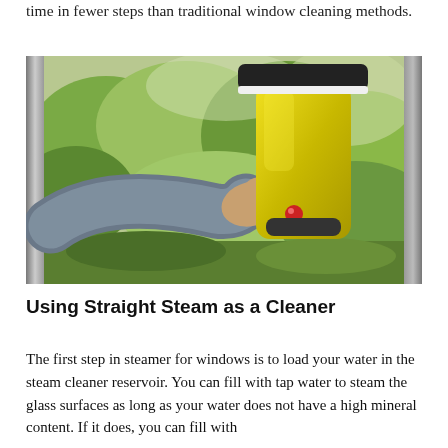time in fewer steps than traditional window cleaning methods.
[Figure (photo): A person holding a yellow electric window vacuum/squeegee device against a window, with green garden/trees visible in the background outside the window.]
Using Straight Steam as a Cleaner
The first step in steamer for windows is to load your water in the steam cleaner reservoir. You can fill with tap water to steam the glass surfaces as long as your water does not have a high mineral content. If it does, you can fill with